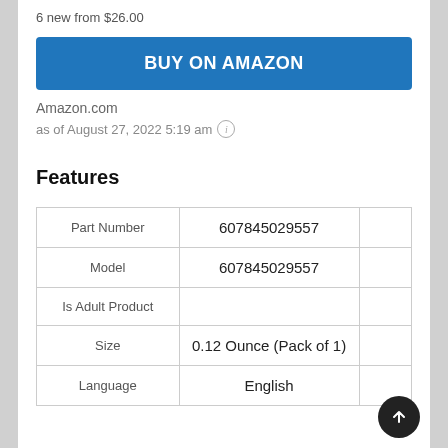6 new from $26.00
BUY ON AMAZON
Amazon.com
as of August 27, 2022 5:19 am ⓘ
Features
|  |  |  |
| --- | --- | --- |
| Part Number | 607845029557 |  |
| Model | 607845029557 |  |
| Is Adult Product |  |  |
| Size | 0.12 Ounce (Pack of 1) |  |
| Language | English |  |